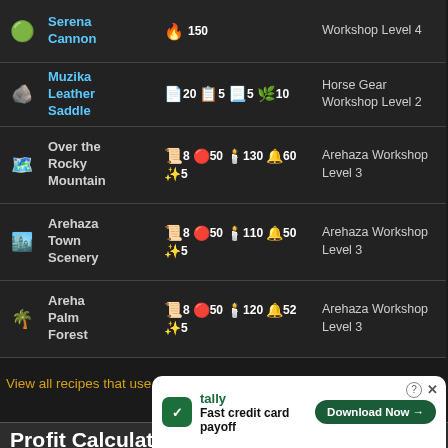| Icon | Name | Materials | Workshop |
| --- | --- | --- | --- |
| [icon] | Serena Cannon | 150 | Workshop Level 4 |
| [icon] | Muzika Leather Saddle | 20  5  5  10 | Horse Gear Workshop Level 2 |
| [icon] | Over the Rocky Mountain | 8  50  130  60  5 | Arehaza Workshop Level 3 |
| [icon] | Arehaza Town Scenery | 8  50  110  50  5 | Arehaza Workshop Level 3 |
| [icon] | Areha Palm Forest | 8  50  120  52  5 | Arehaza Workshop Level 3 |
View all recipes that use Sturdy Palm Plywood as an ingredient.
Profit Calculator
[Figure (screenshot): Advertisement banner for Tally app - Fast credit card payoff with Download Now button]